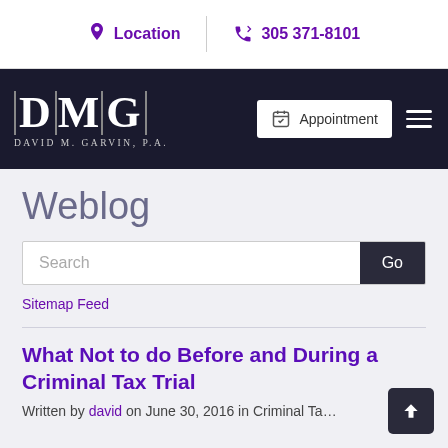Location | 305 371-8101
[Figure (logo): DMG David M. Garvin P.A. law firm logo with navigation bar including Appointment button and hamburger menu]
Weblog
Search [Go]
Sitemap Feed
What Not to do Before and During a Criminal Tax Trial
Written by david on June 30, 2016 in Criminal Ta...